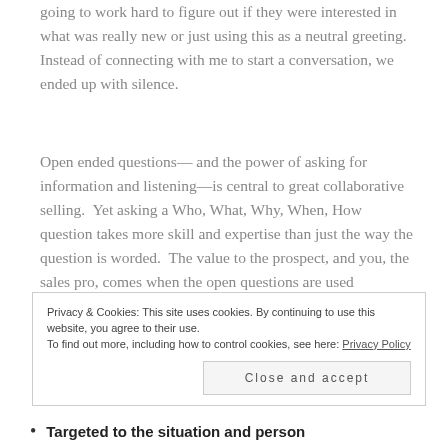going to work hard to figure out if they were interested in what was really new or just using this as a neutral greeting. Instead of connecting with me to start a conversation, we ended up with silence.
Open ended questions— and the power of asking for information and listening—is central to great collaborative selling. Yet asking a Who, What, Why, When, How question takes more skill and expertise than just the way the question is worded. The value to the prospect, and you, the sales pro, comes when the open questions are used intentionally!
To be effective and valuable, great open-ended questions need to be:
Privacy & Cookies: This site uses cookies. By continuing to use this website, you agree to their use. To find out more, including how to control cookies, see here: Privacy Policy
Close and accept
Targeted to the situation and person